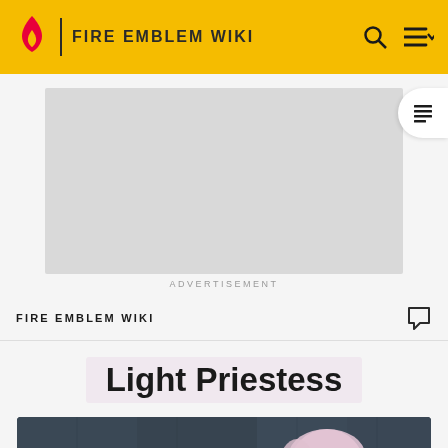FIRE EMBLEM WIKI
[Figure (screenshot): Advertisement placeholder box (gray rectangle)]
ADVERTISEMENT
FIRE EMBLEM WIKI
Light Priestess
[Figure (photo): Partial screenshot of a character with pink/light hair in a dark stone environment, likely from a Fire Emblem game]